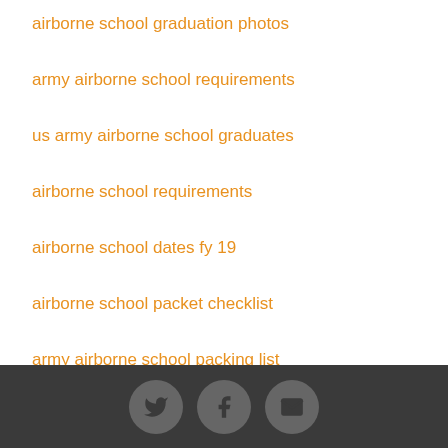airborne school graduation photos
army airborne school requirements
us army airborne school graduates
airborne school requirements
airborne school dates fy 19
airborne school packet checklist
army airborne school packing list
us army airborne school packet
army airborne school dates 2019
[Figure (infographic): Footer bar with dark gray background containing three circular social media icon buttons: Twitter bird icon, Facebook 'f' icon, and envelope/email icon, all in medium gray circles.]